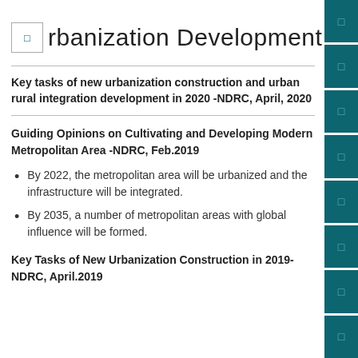rbanization Development
Key tasks of new urbanization construction and urban rural integration development in 2020 -NDRC, April, 2020
Guiding Opinions on Cultivating and Developing Modern Metropolitan Area -NDRC, Feb.2019
By 2022, the metropolitan area will be urbanized and the infrastructure will be integrated.
By 2035, a number of metropolitan areas with global influence will be formed.
Key Tasks of New Urbanization Construction in 2019-NDRC, April.2019